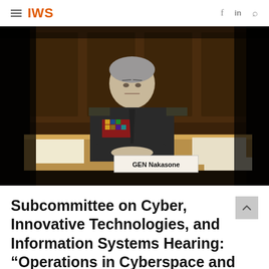IWS
[Figure (photo): A U.S. Army General in military dress uniform sitting at a hearing table with a nameplate reading 'GEN Nakasone', testifying before a congressional subcommittee.]
Subcommittee on Cyber, Innovative Technologies, and Information Systems Hearing: “Operations in Cyberspace and building Cyber Capabilities Across the Department